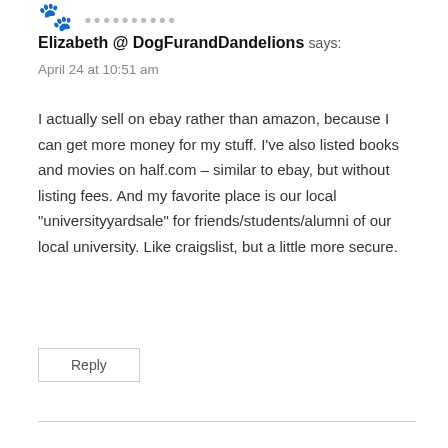Elizabeth @ DogFurandDandelions says:
April 24 at 10:51 am
I actually sell on ebay rather than amazon, because I can get more money for my stuff. I've also listed books and movies on half.com – similar to ebay, but without listing fees. And my favorite place is our local “universityyardsale” for friends/students/alumni of our local university. Like craigslist, but a little more secure.
Reply